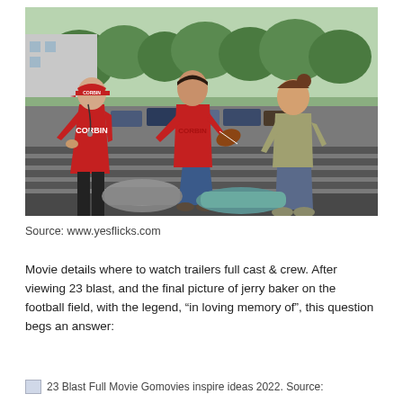[Figure (photo): Three people sitting and standing outdoors. An older man on the left wears a red jacket and red cap with 'CORBIN' text. A young man in the center wears a red 'CORBIN' t-shirt and holds a football. A young woman on the right wears a khaki t-shirt. Bags are on the ground in front of them. Trees and a parking lot are visible in the background.]
Source: www.yesflicks.com
Movie details where to watch trailers full cast & crew. After viewing 23 blast, and the final picture of jerry baker on the football field, with the legend, “in loving memory of”, this question begs an answer:
23 Blast Full Movie Gomovies inspire ideas 2022. Source: